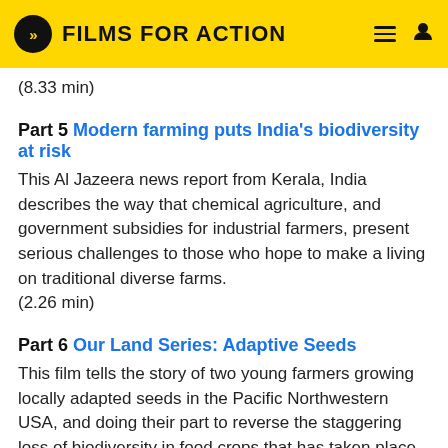FILMS FOR ACTION
(8.33 min)
Part 5 Modern farming puts India's biodiversity at risk
This Al Jazeera news report from Kerala, India describes the way that chemical agriculture, and government subsidies for industrial farmers, present serious challenges to those who hope to make a living on traditional diverse farms.
(2.26 min)
Part 6 Our Land Series: Adaptive Seeds
This film tells the story of two young farmers growing locally adapted seeds in the Pacific Northwestern USA, and doing their part to reverse the staggering loss of biodiversity in food crops that has taken place over the